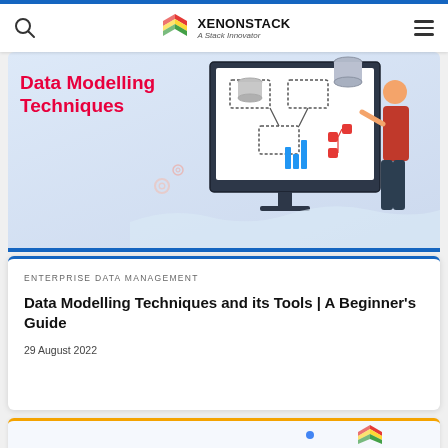XENONSTACK — A Stack Innovator
[Figure (illustration): Data Modelling Techniques banner image with a monitor displaying data flow diagrams, a woman pointing at the screen, database icons, gear icons, and a bar chart icon on a light blue background]
Data Modelling Techniques
ENTERPRISE DATA MANAGEMENT
Data Modelling Techniques and its Tools | A Beginner's Guide
29 August 2022
[Figure (illustration): Partial view of another article card with an orange top border, partially visible at the bottom of the page]